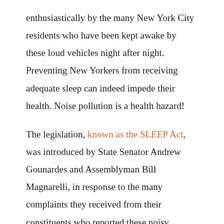enthusiastically by the many New York City residents who have been kept awake by these loud vehicles night after night. Preventing New Yorkers from receiving adequate sleep can indeed impede their health. Noise pollution is a health hazard!
The legislation, known as the SLEEP Act, was introduced by State Senator Andrew Gounardes and Assemblyman Bill Magnarelli, in response to the many complaints they received from their constituents who reported these noisy vehicles were intruding on their health and well-being. With the pandemic increasing the levels of stress among residents, these loud vehicles serve to